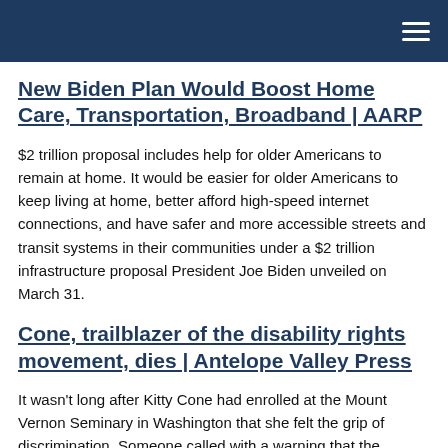New Biden Plan Would Boost Home Care, Transportation, Broadband | AARP
$2 trillion proposal includes help for older Americans to remain at home. It would be easier for older Americans to keep living at home, better afford high-speed internet connections, and have safer and more accessible streets and transit systems in their communities under a $2 trillion infrastructure proposal President Joe Biden unveiled on March 31.
Cone, trailblazer of the disability rights movement, dies | Antelope Valley Press
It wasn't long after Kitty Cone had enrolled at the Mount Vernon Seminary in Washington that she felt the grip of discrimination. Someone called with a warning that the